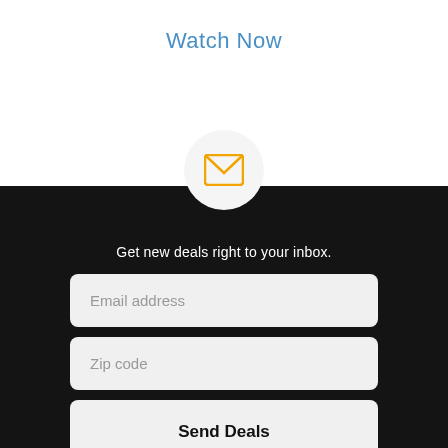Watch Now
[Figure (illustration): Orange envelope icon inside a light gray circle]
Get new deals right to your inbox.
Email address
Zip code
Send Deals
By entering your email address, you agree to receive marketing communications from Comcast via email.